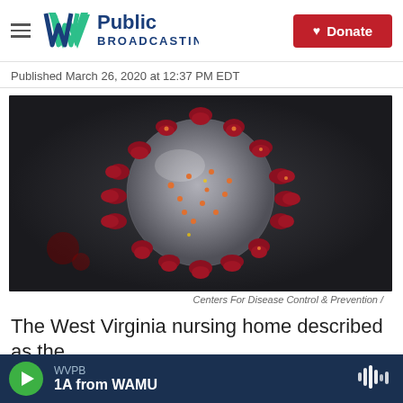WVPB Public Broadcasting | Donate
Published March 26, 2020 at 12:37 PM EDT
[Figure (photo): Close-up 3D illustration of a coronavirus particle (SARS-CoV-2) with red spike proteins on a grey spherical body against a dark background.]
Centers For Disease Control & Prevention /
The West Virginia nursing home described as the
WVPB | 1A from WAMU (audio player bar)